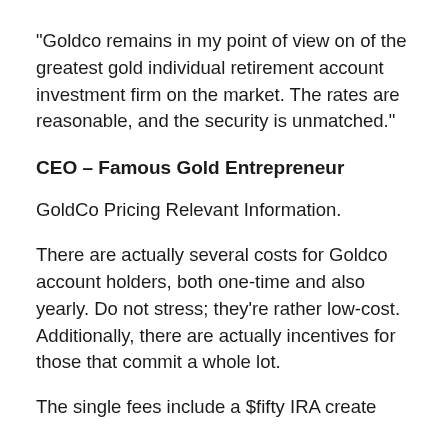“Goldco remains in my point of view on of the greatest gold individual retirement account investment firm on the market. The rates are reasonable, and the security is unmatched.”
CEO – Famous Gold Entrepreneur
GoldCo Pricing Relevant Information.
There are actually several costs for Goldco account holders, both one-time and also yearly. Do not stress; they’re rather low-cost. Additionally, there are actually incentives for those that commit a whole lot.
The single fees include a $fifty IRA create